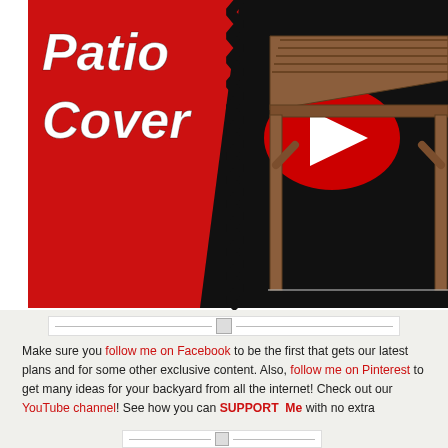[Figure (screenshot): YouTube video thumbnail showing a patio cover build. Left side has a red diagonal banner with black zigzag border reading 'Patio Cover' in white bold italic text. A red YouTube play button is overlaid in the center. Right side shows a 3D wooden patio cover structure illustration.]
Make sure you follow me on Facebook to be the first that gets our latest plans and for some other exclusive content. Also, follow me on Pinterest to get many ideas for your backyard from all the internet! Check out our YouTube channel! See how you can SUPPORT Me with no extra